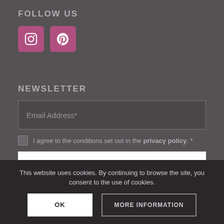FOLLOW US
[Figure (illustration): Two social media icons: Instagram and Pinterest, both in pink/mauve rounded square buttons]
NEWSLETTER
Email Address*
I agree to the conditions set out in the privacy policy. *
Subscribe
This website uses cookies. By continuing to browse the site, you consent to the use of cookies.
OK
MORE INFORMATION